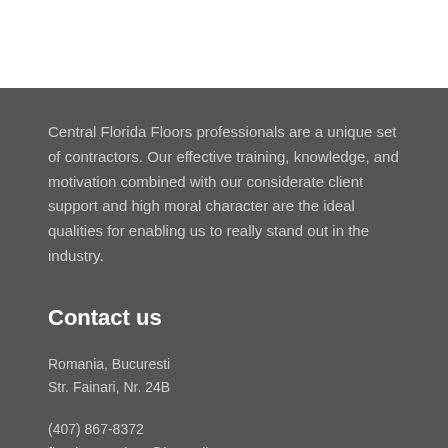Central Florida Floors professionals are a unique set of contractors. Our effective training, knowledge, and motivation combined with our considerate client support and high moral character are the ideal qualities for enabling us to really stand out in the industry.
Contact us
Romania, Bucuresti
Str. Fainari, Nr. 24B
(407) 867-8372
flooring.services@hotmail.com